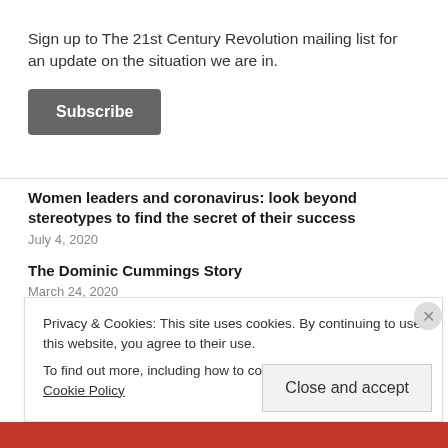Sign up to The 21st Century Revolution mailing list for an update on the situation we are in.
Subscribe
Women leaders and coronavirus: look beyond stereotypes to find the secret of their success
July 4, 2020
The Dominic Cummings Story
March 24, 2020
The Happy Blog
Privacy & Cookies: This site uses cookies. By continuing to use this website, you agree to their use.
To find out more, including how to control cookies, see here: Cookie Policy
Close and accept